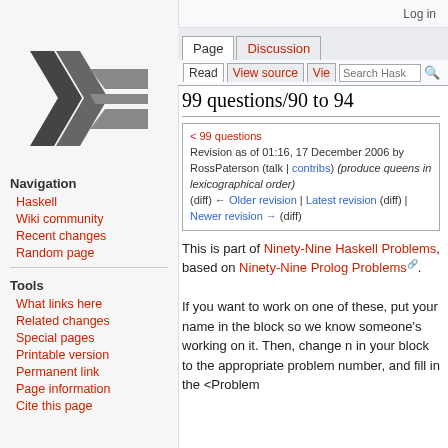Log in
[Figure (logo): Haskell wiki logo — stylized double-chevron lambda symbol in dark gray]
Navigation
Haskell
Wiki community
Recent changes
Random page
Tools
What links here
Related changes
Special pages
Printable version
Permanent link
Page information
Cite this page
99 questions/90 to 94
< 99 questions
Revision as of 01:16, 17 December 2006 by RossPaterson (talk | contribs) (produce queens in lexicographical order)
(diff) ← Older revision | Latest revision (diff) | Newer revision → (diff)
This is part of Ninety-Nine Haskell Problems, based on Ninety-Nine Prolog Problems. If you want to work on one of these, put your name in the block so we know someone's working on it. Then, change n in your block to the appropriate problem number, and fill in the <Problem